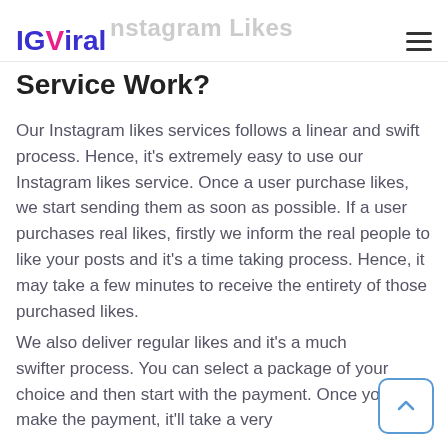IGViral — Instagram Likes
Service Work?
Our Instagram likes services follows a linear and swift process. Hence, it's extremely easy to use our Instagram likes service. Once a user purchase likes, we start sending them as soon as possible. If a user purchases real likes, firstly we inform the real people to like your posts and it's a time taking process. Hence, it may take a few minutes to receive the entirety of those purchased likes.
We also deliver regular likes and it's a much swifter process. You can select a package of your choice and then start with the payment. Once you make the payment, it'll take a very